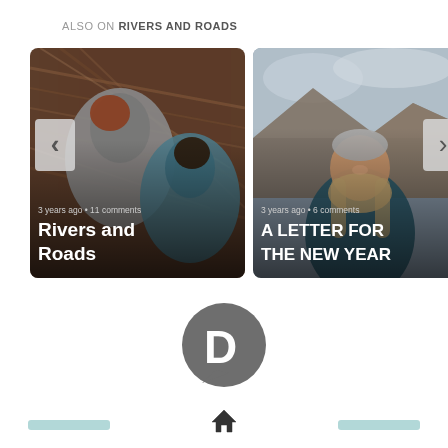ALSO ON RIVERS AND ROADS
[Figure (photo): Card 1: Photo of two people bent over in dry hay/grass, brownish tones. Text overlay: '3 years ago • 11 comments' and title 'Rivers and Roads'. Left nav arrow visible.]
[Figure (photo): Card 2: Photo of a woman smiling outdoors with mountains and cloudy sky in background. Text overlay: '3 years ago • 6 comments' and title 'A LETTER FOR THE NEW YEAR'. Right nav arrow visible.]
[Figure (logo): Disqus logo: large grey circle with white 'D' speech bubble icon in center of page lower half.]
[Figure (illustration): Bottom navigation bar with two teal/blue pill-shaped buttons on left and right, and a home icon in the center.]